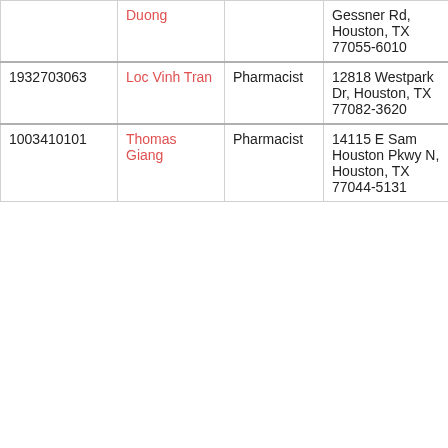| NPI | Name | Type | Address | Date |
| --- | --- | --- | --- | --- |
|  | Duong |  | Gessner Rd, Houston, TX 77055-6010 |  |
| 1932703063 | Loc Vinh Tran | Pharmacist | 12818 Westpark Dr, Houston, TX 77082-3620 | 2020-11-30 |
| 1003410101 | Thomas Giang | Pharmacist | 14115 E Sam Houston Pkwy N, Houston, TX 77044-5131 | 2020-11-30 |